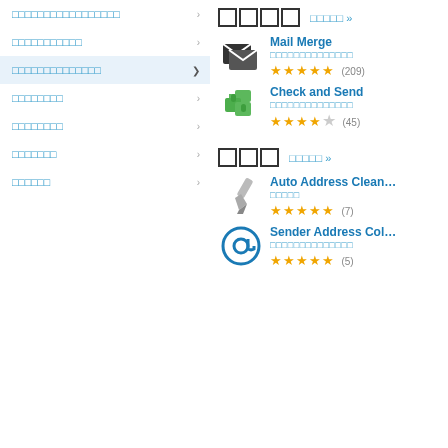□□□□□□□□□□□□□□□□□
□□□□□□□□□□□
□□□□□□□□□□□□□□ (active)
□□□□□□□□
□□□□□□□□
□□□□□□□
□□□□□□
□□□□  □□□□□ »
Mail Merge — □□□□□□□□□□□□□□ ★★★★★ (209)
Check and Send — □□□□□□□□□□□□□□ ★★★★☆ (45)
□□□  □□□□□ »
Auto Address Clean — □□□□□ ★★★★★ (7)
Sender Address Col — □□□□□□□□□□□□□□ ★★★★★ (5)